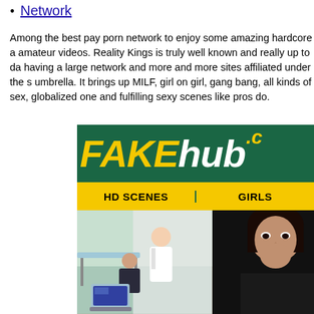Network
Among the best pay porn network to enjoy some amazing hardcore a amateur videos. Reality Kings is truly well known and really up to da having a large network and more and more sites affiliated under the s umbrella. It brings up MILF, girl on girl, gang bang, all kinds of sex, globalized one and fulfilling sexy scenes like pros do.
[Figure (screenshot): FAKEhub website screenshot showing logo with 'FAKE' in yellow italic and 'hub' in white on dark green background, navigation bar with HD SCENES and GIRLS tabs in yellow, and two thumbnail images below.]